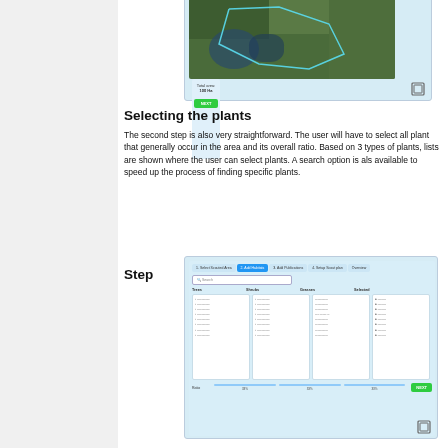[Figure (screenshot): Screenshot of a map interface showing a satellite view with a drawn polygon area and a sidebar showing 'Total area: 100 Ha' with a NEXT button]
Selecting the plants
The second step is also very straightforward. The user will have to select all plant that generally occur in the area and its overall ratio. Based on 3 types of plants, lists are shown where the user can select plants. A search option is als available to speed up the process of finding specific plants.
Step
[Figure (screenshot): Screenshot of a plant selection UI with tabs (1. Select Scouted Area, 2. Add Habitats highlighted in blue, 3. Add Publications, 4. Setup Scout plan, Overview), a search bar, three columns (Trees, Shrubs, Grasses) with plant lists, a Selected panel on the right with checkboxes, Ratio sliders at the bottom, and a NEXT button]